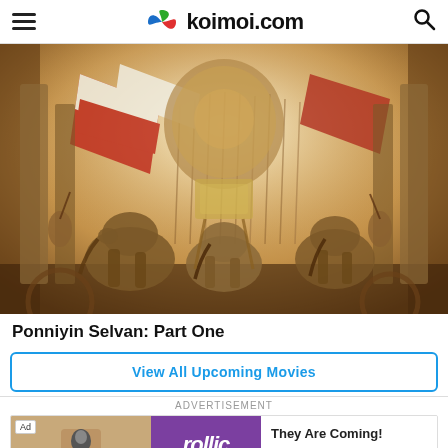koimoi.com
[Figure (photo): Ponniyin Selvan movie poster showing epic battle scene with elephants, warriors, chariots, red and white flags, and ancient temple architecture in sepia tones]
Ponniyin Selvan: Part One
View All Upcoming Movies
ADVERTISEMENT
[Figure (other): Advertisement banner for Rollic game app showing 'They Are Coming!' with a Download button]